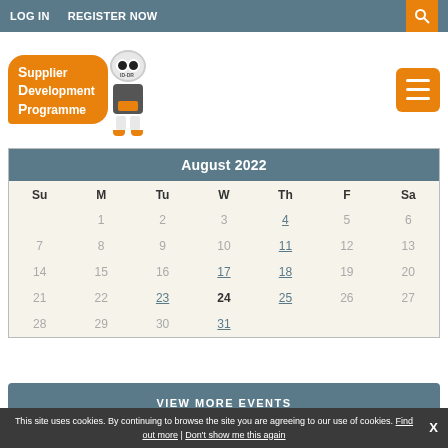LOG IN   REGISTER NOW
[Figure (logo): Supplier Development Programme logo with robot mascot and tagline Helping You Bid Better]
| Su | M | Tu | W | Th | F | Sa |
| --- | --- | --- | --- | --- | --- | --- |
|  | 1 | 2 | 3 | 4 | 5 | 6 |
| 7 | 8 | 9 | 10 | 11 | 12 | 13 |
| 14 | 15 | 16 | 17 | 18 | 19 | 20 |
| 21 | 22 | 23 | 24 | 25 | 26 | 27 |
| 28 | 29 | 30 | 31 |  |  |  |
VIEW MORE EVENTS
This site uses cookies. By continuing to browse the site you are agreeing to our use of cookies. Find out more | Don't show me this again